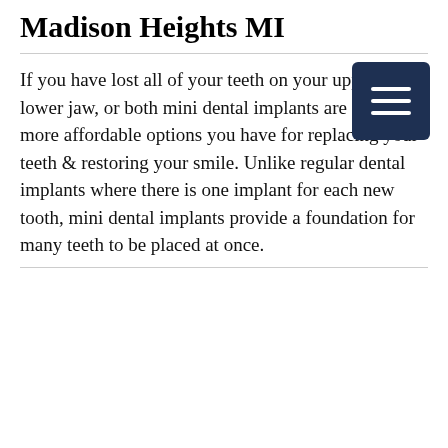Madison Heights MI
If you have lost all of your teeth on your upper jaw, lower jaw, or both mini dental implants are one of the more affordable options you have for replacing your teeth & restoring your smile. Unlike regular dental implants where there is one implant for each new tooth, mini dental implants provide a foundation for many teeth to be placed at once.